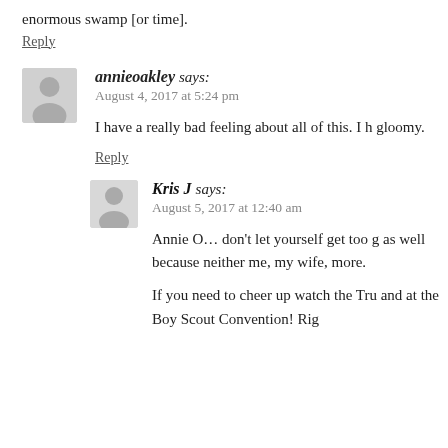enormous swamp [or time].
Reply
annieoakley says:
August 4, 2017 at 5:24 pm

I have a really bad feeling about all of this. I h... gloomy.
Reply
Kris J says:
August 5, 2017 at 12:40 am

Annie O… don't let yourself get too g... as well because neither me, my wife, ... more.

If you need to cheer up watch the Tru... and at the Boy Scout Convention! Rig...